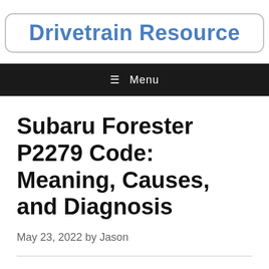Drivetrain Resource
≡ Menu
Subaru Forester P2279 Code: Meaning, Causes, and Diagnosis
May 23, 2022 by Jason